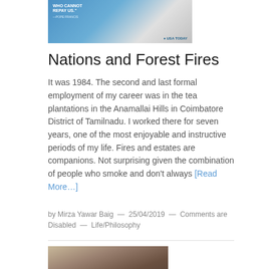[Figure (photo): Advertisement banner with blue background showing text 'WHO CANNOT REPAY US.' attributed to Pope Francis, with USA TODAY logo]
Nations and Forest Fires
It was 1984. The second and last formal employment of my career was in the tea plantations in the Anamallai Hills in Coimbatore District of Tamilnadu. I worked there for seven years, one of the most enjoyable and instructive periods of my life. Fires and estates are companions. Not surprising given the combination of people who smoke and don't always [Read More…]
by Mirza Yawar Baig  —  25/04/2019  —  Comments are Disabled  —  Life/Philosophy
[Figure (photo): Photograph of a grieving woman with framed portrait photos visible in the foreground]